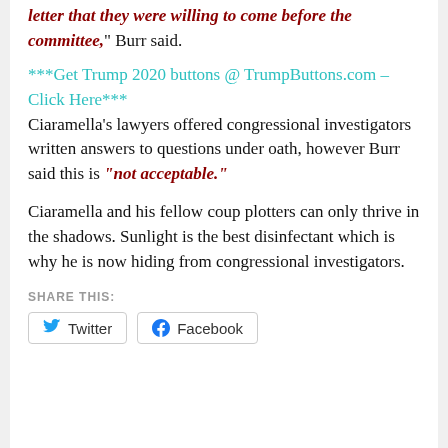letter that they were willing to come before the committee," Burr said.
***Get Trump 2020 buttons @ TrumpButtons.com – Click Here***
Ciaramella's lawyers offered congressional investigators written answers to questions under oath, however Burr said this is "not acceptable."
Ciaramella and his fellow coup plotters can only thrive in the shadows. Sunlight is the best disinfectant which is why he is now hiding from congressional investigators.
SHARE THIS:
Twitter   Facebook